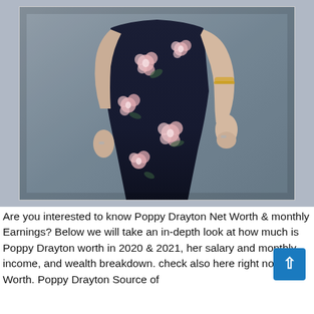[Figure (photo): A woman wearing a navy blue floral dress with pink flowers, gold arm cuff bracelet and rings, photographed from neck/shoulder down to mid-calf against a grey studio background.]
Are you interested to know Poppy Drayton Net Worth & monthly Earnings? Below we will take an in-depth look at how much is Poppy Drayton worth in 2020 & 2021, her salary and monthly income, and wealth breakdown. check also here right now Net Worth. Poppy Drayton Source of